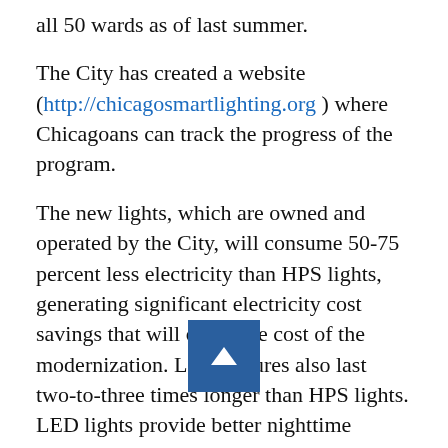all 50 wards as of last summer.
The City has created a website (http://chicagosmartlighting.org) where Chicagoans can track the progress of the program.
The new lights, which are owned and operated by the City, will consume 50-75 percent less electricity than HPS lights, generating significant electricity cost savings that will offset the cost of the modernization. LED fixtures also last two-to-three times longer than HPS lights. LED lights provide better nighttime visibility, and the LED light fixtures selected by the City are designed to project light downward where it is needed on streets and sidewalks, not into the night sky.
“The installations of new LED lights are moving quickly across the City and we are very pleased to have reached the significant milestone of 100,000 new lights installed, which means we are more than one